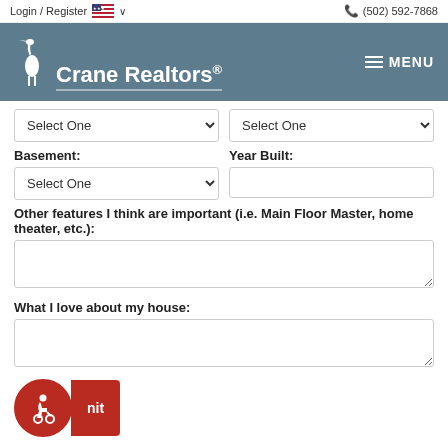Login / Register  🇺🇸 ∨   (502) 592-7868
[Figure (logo): Crane Realtors logo with heron bird icon and MENU hamburger button on teal/slate header bar]
Select One  Select One
Basement:
Year Built:
Select One
Other features I think are important (i.e. Main Floor Master, home theater, etc.):
What I love about my house: